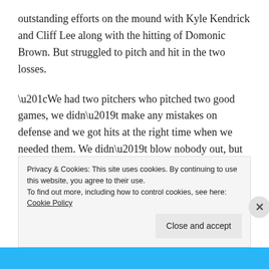outstanding efforts on the mound with Kyle Kendrick and Cliff Lee along with the hitting of Domonic Brown. But struggled to pitch and hit in the two losses.
“We had two pitchers who pitched two good games, we didn’t make any mistakes on defense and we got hits at the right time when we needed them. We didn’t blow nobody out, but we played sound baseball,” Manuel said. “In the other two games, if you go back and look, they put up more offense than we did and so therefore our pitching wasn’t as good as theirs and so they beat us. It goes back to consistency.”
Privacy & Cookies: This site uses cookies. By continuing to use this website, you agree to their use.
To find out more, including how to control cookies, see here: Cookie Policy
Close and accept